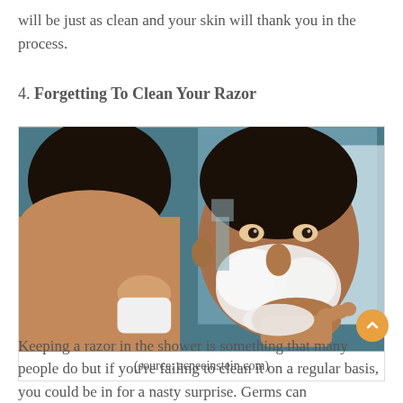will be just as clean and your skin will thank you in the process.
4. Forgetting To Clean Your Razor
[Figure (photo): A young man applying shaving cream to his face while looking in a mirror in a bathroom. (source: acneeinstein.com)]
(source: acneeinstein.com)
Keeping a razor in the shower is something that many people do but if you're failing to clean it on a regular basis, you could be in for a nasty surprise. Germs can